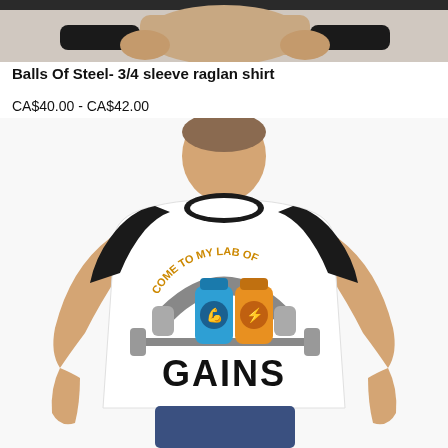[Figure (photo): Partial top portion of another product photo cropped at top]
Balls Of Steel- 3/4 sleeve raglan shirt
CA$40.00 - CA$42.00
[Figure (photo): Man wearing a white and black 3/4 sleeve raglan shirt with 'Come to my lab of GAINS' graphic featuring supplement bottles, headphones, and dumbbells.]